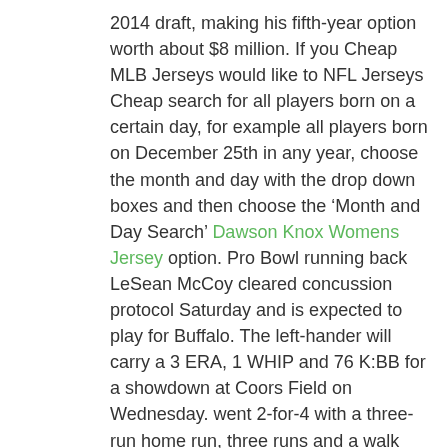2014 draft, making his fifth-year option worth about $8 million. If you Cheap MLB Jerseys would like to NFL Jerseys Cheap search for all players born on a certain day, for example all players born on December 25th in any year, choose the month and day with the drop down boxes and then choose the ‘Month and Day Search’ Dawson Knox Womens Jersey option. Pro Bowl running back LeSean McCoy cleared concussion protocol Saturday and is expected to play for Buffalo. The left-hander will carry a 3 ERA, 1 WHIP and 76 K:BB for a showdown at Coors Field on Wednesday. went 2-for-4 with a three-run home run, three runs and a walk during an 11 victory against the Giants on Tuesday. I write everything down, and when we get back to the office, I’ll go back through my notes and http://www.officialauthenticbillsprostores.com/womens_dawson_knox_jersey type those all in. He’s going through concussion protocol, they’re going to X-ray his shoulder up here that he banged in the wall and he’s